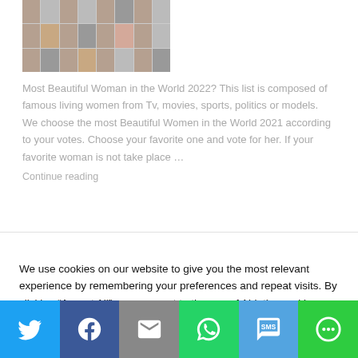[Figure (photo): Grid of small portrait photos of various women]
Most Beautiful Woman in the World 2022? This list is composed of famous living women from Tv, movies, sports, politics or models. We choose the most Beautiful Women in the World 2021 according to your votes. Choose your favorite one and vote for her. If your favorite woman is not take place … Continue reading
We use cookies on our website to give you the most relevant experience by remembering your preferences and repeat visits. By clicking "Accept All", you consent to the use of ALL the cookies. However, you may visit "Cookie Settings" to provide a controlled consent.
[Figure (infographic): Social share bar with Twitter, Facebook, Email, WhatsApp, SMS, and More buttons]